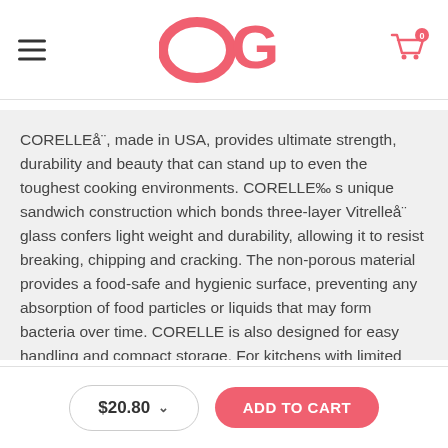OG logo with hamburger menu and cart icon
CORELLEå¨, made in USA, provides ultimate strength, durability and beauty that can stand up to even the toughest cooking environments. CORELLE%o s unique sandwich construction which bonds three-layer Vitrelleå¨ glass confers light weight and durability, allowing it to resist breaking, chipping and cracking. The non-porous material provides a food-safe and hygienic surface, preventing any absorption of food particles or liquids that may form bacteria over time. CORELLE is also designed for easy handling and compact storage. For kitchens with limited storage, it nests efficiently and neatly. A marriage of form and function, CORELLE dinnerware offers unparalleled versatility for your kitchen. Available in a wide range of shapes and sizes, from classic white dinnerware to bold graphic patterns, CORELLE is the
$20.80  ADD TO CART